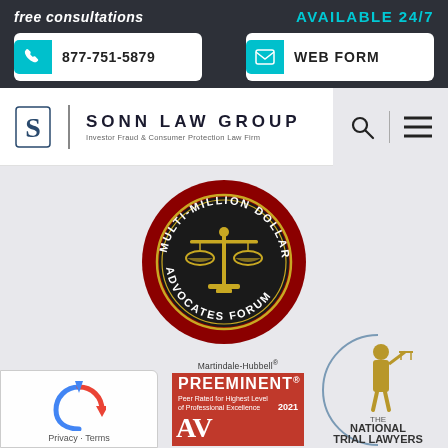free consultations
AVAILABLE 24/7
877-751-5879
WEB FORM
[Figure (logo): Sonn Law Group logo — stylized S monogram with vertical bar and firm name 'SONN LAW GROUP' and tagline 'Investor Fraud & Consumer Protection Law Firm']
[Figure (logo): Multi-Million Dollar Advocates Forum circular seal with scales of justice in gold and dark red border]
[Figure (logo): Martindale-Hubbell Preeminent AV rating badge — red badge with 'PREEMINENT' text, 'Peer Rated for Highest Level of Professional Excellence', year 2021]
[Figure (logo): The National Trial Lawyers badge with standing justice figure in gold/bronze]